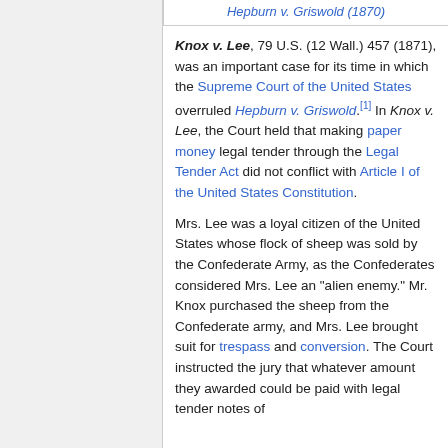Hepburn v. Griswold (1870)
Knox v. Lee, 79 U.S. (12 Wall.) 457 (1871), was an important case for its time in which the Supreme Court of the United States overruled Hepburn v. Griswold.[1] In Knox v. Lee, the Court held that making paper money legal tender through the Legal Tender Act did not conflict with Article I of the United States Constitution.
Mrs. Lee was a loyal citizen of the United States whose flock of sheep was sold by the Confederate Army, as the Confederates considered Mrs. Lee an "alien enemy." Mr. Knox purchased the sheep from the Confederate army, and Mrs. Lee brought suit for trespass and conversion. The Court instructed the jury that whatever amount they awarded could be paid with legal tender notes of